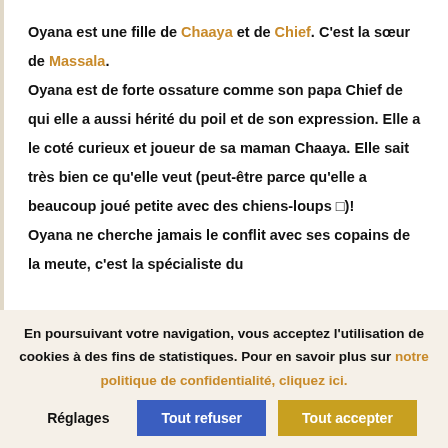Oyana est une fille de Chaaya et de Chief. C'est la sœur de Massala.

Oyana est de forte ossature comme son papa Chief de qui elle a aussi hérité du poil et de son expression. Elle a le coté curieux et joueur de sa maman Chaaya. Elle sait très bien ce qu'elle veut (peut-être parce qu'elle a beaucoup joué petite avec des chiens-loups 🐺)!
Oyana ne cherche jamais le conflit avec ses copains de la meute, c'est la spécialiste du
En poursuivant votre navigation, vous acceptez l'utilisation de cookies à des fins de statistiques. Pour en savoir plus sur notre politique de confidentialité, cliquez ici.
Réglages
Tout refuser
Tout accepter